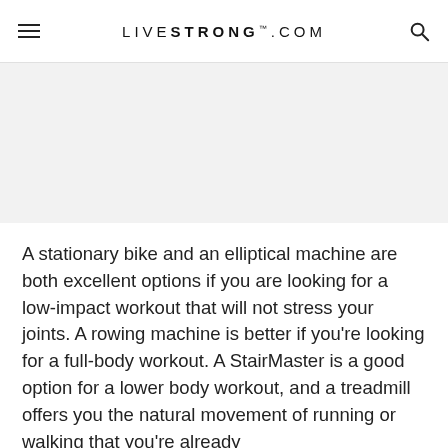LIVESTRONG.COM
[Figure (other): Advertisement placeholder with light gray background]
A stationary bike and an elliptical machine are both excellent options if you are looking for a low-impact workout that will not stress your joints. A rowing machine is better if you're looking for a full-body workout. A StairMaster is a good option for a lower body workout, and a treadmill offers you the natural movement of running or walking that you're already